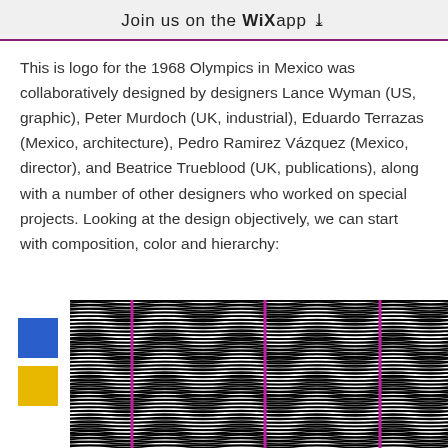Join us on the WiX app ↓
This is logo for the 1968 Olympics in Mexico was collaboratively designed by designers Lance Wyman (US, graphic), Peter Murdoch (UK, industrial), Eduardo Terrazas (Mexico, architecture), Pedro Ramirez Vázquez (Mexico, director), and Beatrice Trueblood (UK, publications), along with a number of other designers who worked on special projects. Looking at the design objectively, we can start with composition, color and hierarchy:
[Figure (illustration): Bottom portion of the 1968 Mexico Olympics logo design showing black and white wavy zigzag lines with two vertical magenta/pink lines, and on the left side a blue square and yellow square color swatch.]